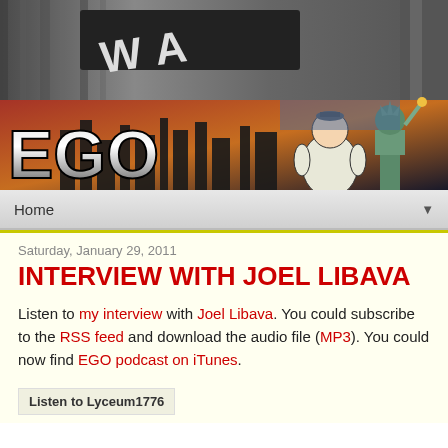[Figure (photo): Website header: dark curtain/wall photo background at top, black bar with 'EGO' logo in metallic letters, cartoon mascot figure of a stocky man in white shirt, cityscape silhouette on orange/red gradient, Statue of Liberty on right side.]
Home
Saturday, January 29, 2011
INTERVIEW WITH JOEL LIBAVA
Listen to my interview with Joel Libava. You could subscribe to the RSS feed and download the audio file (MP3). You could now find EGO podcast on iTunes.
Listen to Lyceum1776